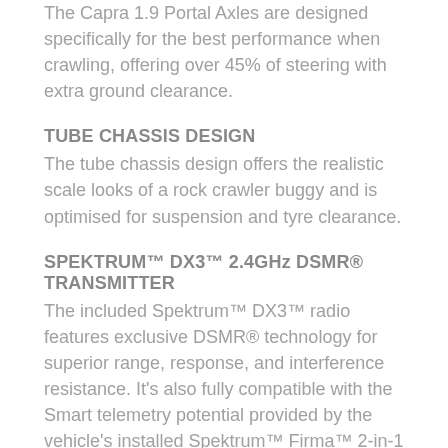The Capra 1.9 Portal Axles are designed specifically for the best performance when crawling, offering over 45% of steering with extra ground clearance.
TUBE CHASSIS DESIGN
The tube chassis design offers the realistic scale looks of a rock crawler buggy and is optimised for suspension and tyre clearance.
SPEKTRUM™ DX3™ 2.4GHz DSMR® TRANSMITTER
The included Spektrum™ DX3™ radio features exclusive DSMR® technology for superior range, response, and interference resistance. It's also fully compatible with the Smart telemetry potential provided by the vehicle's installed Spektrum™ Firma™ 2-in-1 40A Smart ESC/Receiver.
TWO METAL-GEARED SERVOS
Each end of the Capra™ 1.9 4WS Unlimited Trail Buggy is equipped with a Spektrum™ S614 Metal-Gear servo to